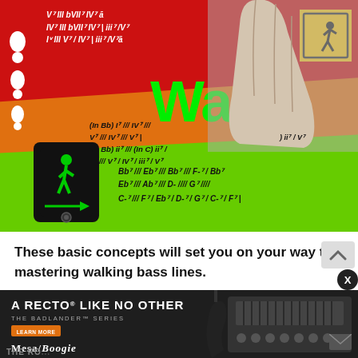[Figure (illustration): Colorful collage image showing walking bass line chord charts on red, orange, and green diagonal bands, with a pedestrian walk signal, a hand holding a card, a pedestrian crossing sign, and the word 'Walk' in large green text. Chord symbols include: IV7 III bVII7 IV7, ii7 IV7, V7 III V7 IV7 iii7 V7, (In Bb) I7 /// IV7 /// V7 /// IV7 /// V7, (In Bb) ii7 /// (In C) ii7, V7 / IV7, ii7 / V7, Bb7 /// Eb7 /// Bb7 /// F-7 / Bb7, Eb7 /// Ab7 /// D- //// G7 //// C-7 /// F7 / Eb7 / D-7 / G7 / C-7 / F7 /]
These basic concepts will set you on your way to mastering walking bass lines.
[Figure (other): Advertisement for Mesa/Boogie Badlander Series amplifier. Shows guitar and amp. Text: 'A RECTO LIKE NO OTHER', 'THE BADLANDER SERIES', 'LEARN MORE', 'MESA/BOOGIE']
THE RO...